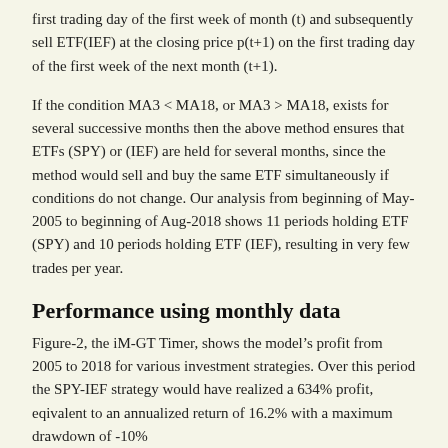first trading day of the first week of month (t) and subsequently sell ETF(IEF) at the closing price p(t+1) on the first trading day of the first week of the next month (t+1).
If the condition MA3 < MA18, or MA3 > MA18, exists for several successive months then the above method ensures that ETFs (SPY) or (IEF) are held for several months, since the method would sell and buy the same ETF simultaneously if conditions do not change. Our analysis from beginning of May-2005 to beginning of Aug-2018 shows 11 periods holding ETF (SPY) and 10 periods holding ETF (IEF), resulting in very few trades per year.
Performance using monthly data
Figure-2, the iM-GT Timer, shows the model's profit from 2005 to 2018 for various investment strategies. Over this period the SPY-IEF strategy would have realized a 634% profit, eqivalent to an annualized return of 16.2% with a maximum drawdown of -10%